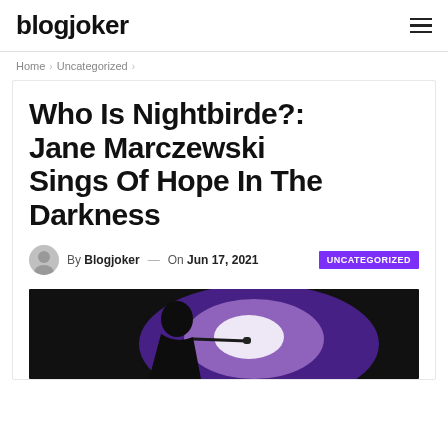blogjoker
Home > Uncategorized >
Who Is Nightbirde?: Jane Marczewski Sings Of Hope In The Darkness
By Blogjoker — On Jun 17, 2021 UNCATEGORIZED
[Figure (photo): Dark silhouette of a singer performing with a microphone, backlit by a bright purple/white stage light]